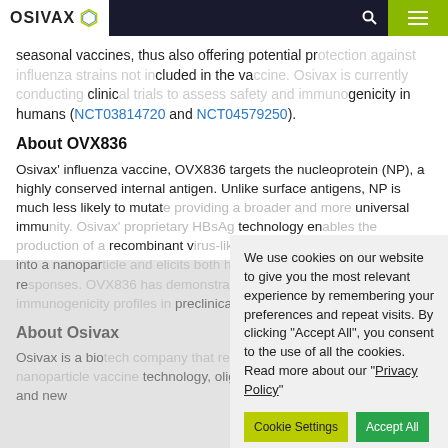OSIVAX navigation bar with logo, search, and menu
seasonal vaccines, thus also offering potential protection against influenza strains not included in the vaccine. Osivax is currently conducting clinical trials to assess safety and immunogenicity in humans (NCT03814720 and NCT04579250).
About OVX836
Osivax' influenza vaccine, OVX836 targets the nucleoprotein (NP), a highly conserved internal antigen. Unlike surface antigens, NP is much less likely to mutate providing a broader and more universal immunity. Osivax' proprietary HBsAg technology enables the production of a recombinant virus-like particle that self-assembles into a nanoparticle and elicits both humoral and T cell immune responses. OVX836 has demonstrated promising safety and immunogenicity profiles in preclinical and
About Osivax
Osivax is a biotech company that relies on a novel, self-assembling nanoparticle vaccine technology, oligoDOM®, to transform current and new
We use cookies on our website to give you the most relevant experience by remembering your preferences and repeat visits. By clicking "Accept All", you consent to the use of all the cookies. Read more about our "Privacy Policy"